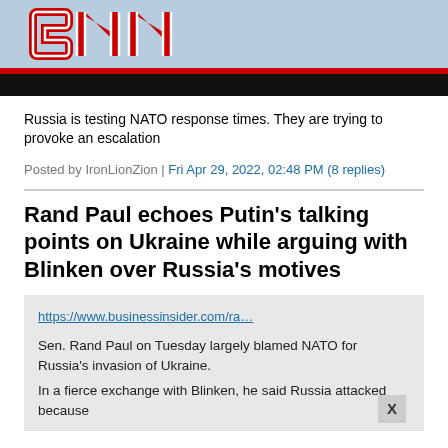[Figure (logo): CNN logo on light blue background with red border and black bar at bottom]
Russia is testing NATO response times. They are trying to provoke an escalation
Posted by IronLionZion | Fri Apr 29, 2022, 02:48 PM (8 replies)
Rand Paul echoes Putin's talking points on Ukraine while arguing with Blinken over Russia's motives
https://www.businessinsider.com/ra…

Sen. Rand Paul on Tuesday largely blamed NATO for Russia's invasion of Ukraine.
In a fierce exchange with Blinken, he said Russia attacked because